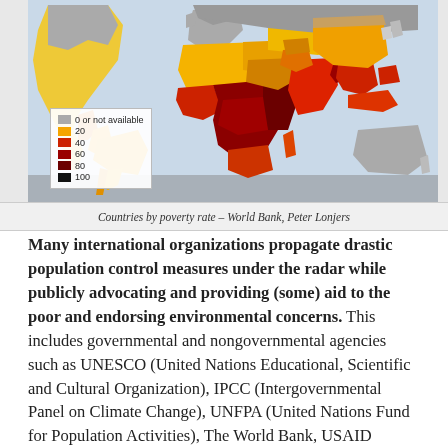[Figure (map): World map showing countries by poverty rate, color-coded from gray (0 or not available) through orange (20), red shades (40, 60, 80) to near-black (100). Sub-Saharan Africa and parts of Asia are darkest red. Latin America is orange/yellow. Europe and Australia are gray.]
Countries by poverty rate – World Bank, Peter Lonjers
Many international organizations propagate drastic population control measures under the radar while publicly advocating and providing (some) aid to the poor and endorsing environmental concerns. This includes governmental and nongovernmental agencies such as UNESCO (United Nations Educational, Scientific and Cultural Organization), IPCC (Intergovernmental Panel on Climate Change), UNFPA (United Nations Fund for Population Activities), The World Bank, USAID (United States Agency for International Development), the Club of